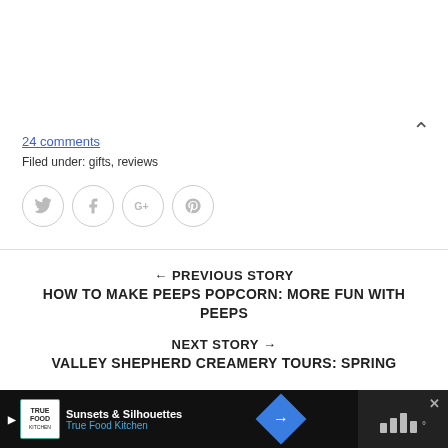24 comments
Filed under: gifts, reviews
[Figure (other): Social sharing icons: Twitter, Facebook, Google+, Pinterest — circular outline buttons with grey icons]
← PREVIOUS STORY
HOW TO MAKE PEEPS POPCORN: MORE FUN WITH PEEPS
NEXT STORY →
VALLEY SHEPHERD CREAMERY TOURS: SPRING
[Figure (other): Bottom advertisement bar with True Food Kitchen ad, navigation arrow diamond icon, and X close button with audio bars]